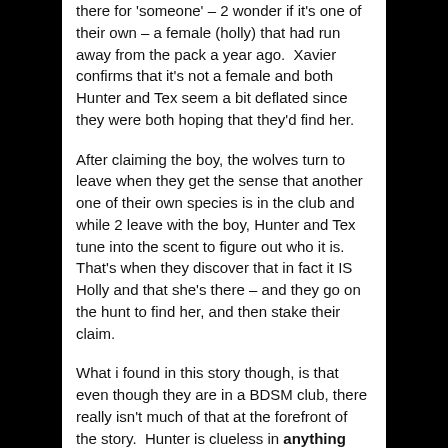there for 'someone' – 2 wonder if it's one of their own – a female (holly) that had run away from the pack a year ago.  Xavier confirms that it's not a female and both Hunter and Tex seem a bit deflated since they were both hoping that they'd find her.
After claiming the boy, the wolves turn to leave when they get the sense that another one of their own species is in the club and while 2 leave with the boy, Hunter and Tex tune into the scent to figure out who it is.  That's when they discover that in fact it IS Holly and that she's there – and they go on the hunt to find her, and then stake their claim.
What i found in this story though, is that even though they are in a BDSM club, there really isn't much of that at the forefront of the story.  Hunter is clueless in anything sexual since he's quite the virigin, and although Tex has been at the club before and is comfortable with the environment (he has his own bag of toys) – he's really not a commanding dom.  at least not compared to all those other doms that we've met at Dark Haven.  The little love